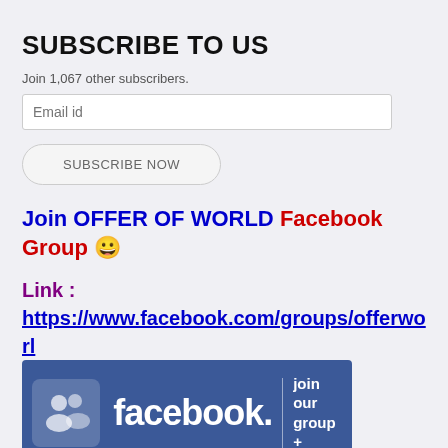SUBSCRIBE TO US
Join 1,067 other subscribers.
Email id
SUBSCRIBE NOW
Join OFFER OF WORLD Facebook Group 😀
Link :
https://www.facebook.com/groups/offerworld/
[Figure (illustration): Facebook join our group banner with blue background, Facebook logo, people icon, and text 'join our group +']